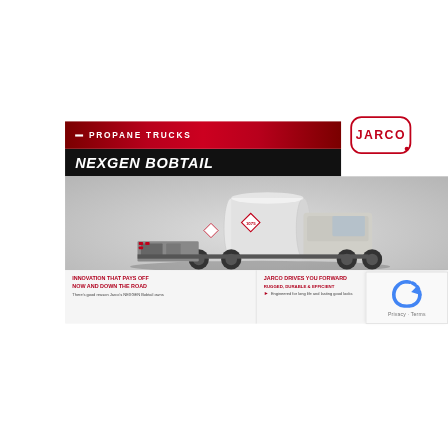[Figure (logo): JARCO company logo in red text inside rounded rectangle outline]
PROPANE TRUCKS
NEXGEN BOBTAIL
[Figure (photo): Jarco NEXGEN Bobtail propane delivery truck, white tank with hazmat diamond placard, rear-view showing pump compartment, parked on gray surface]
INNOVATION THAT PAYS OFF NOW AND DOWN THE ROAD
There's good reason Jarco's NEXGEN Bobtail owns
JARCO DRIVES YOU FORWARD
RUGGED, DURABLE & EFFICIENT
Engineered for long life and lasting good looks